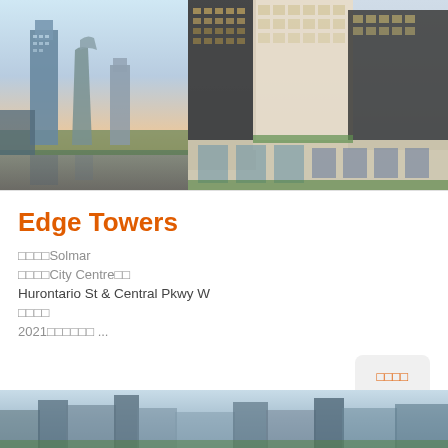[Figure (photo): Two architectural renderings of Edge Towers: left panel shows slender curved skyscrapers at dusk, right panel shows a mixed-use building with tower and podium]
Edge Towers
□□□□Solmar
□□□□City Centre□□
Hurontario St & Central Pkwy W
□□□□
2021□□□□□□ ...
□□□□